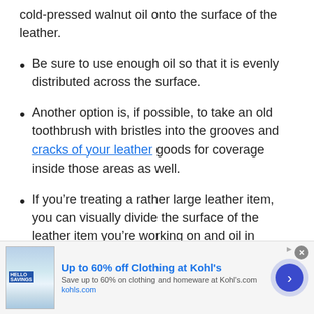cold-pressed walnut oil onto the surface of the leather.
Be sure to use enough oil so that it is evenly distributed across the surface.
Another option is, if possible, to take an old toothbrush with bristles into the grooves and cracks of your leather goods for coverage inside those areas as well.
If you’re treating a rather large leather item, you can visually divide the surface of the leather item you’re working on and oil in sections.
[Figure (other): Advertisement banner: Up to 60% off Clothing at Kohl's. Save up to 60% on clothing and homeware at Kohl's.com. kohls.com]